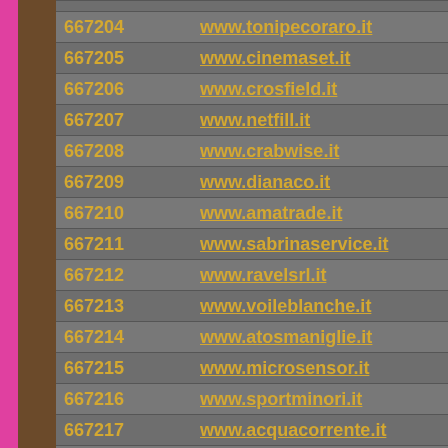| ID | URL |
| --- | --- |
| 667204 | www.tonipecoraro.it |
| 667205 | www.cinemaset.it |
| 667206 | www.crosfield.it |
| 667207 | www.netfill.it |
| 667208 | www.crabwise.it |
| 667209 | www.dianaco.it |
| 667210 | www.amatrade.it |
| 667211 | www.sabrinaservice.it |
| 667212 | www.ravelsrl.it |
| 667213 | www.voileblanche.it |
| 667214 | www.atosmaniglie.it |
| 667215 | www.microsensor.it |
| 667216 | www.sportminori.it |
| 667217 | www.acquacorrente.it |
| 667218 | www.stdcom.it |